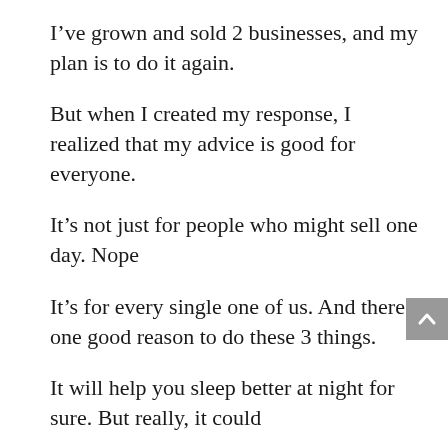I've grown and sold 2 businesses, and my plan is to do it again.
But when I created my response, I realized that my advice is good for everyone.
It's not just for people who might sell one day. Nope
It's for every single one of us. And there's one good reason to do these 3 things.
It will help you sleep better at night for sure. But really, it could